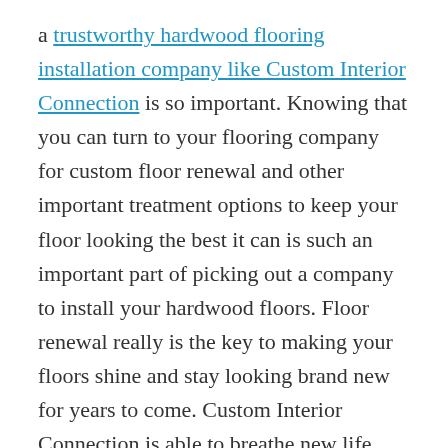a trustworthy hardwood flooring installation company like Custom Interior Connection is so important. Knowing that you can turn to your flooring company for custom floor renewal and other important treatment options to keep your floor looking the best it can is such an important part of picking out a company to install your hardwood floors. Floor renewal really is the key to making your floors shine and stay looking brand new for years to come. Custom Interior Connection is able to breathe new life into your hardwood floors with ease through their patented techniques, and there are also some things that you are able to do as a homeowner to keep your floors looking refreshed. The floor renewal services available with custom floor renewal will leave you knowing that you have made the best hardwood flooring decision in the business. Here are a